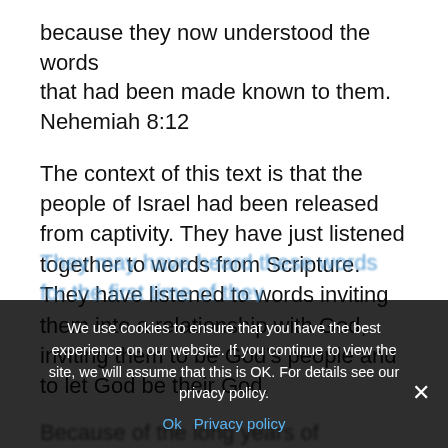because they now understood the words that had been made known to them.
Nehemiah 8:12
The context of this text is that the people of Israel had been released from captivity. They have just listened together to words from Scripture. They have listened to words inviting them into a relationship with God, inviting them to be God's people and to let God be their God.
Because of the long years of captivity, they had not...They may have heard these words for the first time that they were loved by God and heard these life...
We use cookies to ensure that you have the best experience on our website. If you continue to view the site, we will assume that this is OK. For details see our privacy policy.